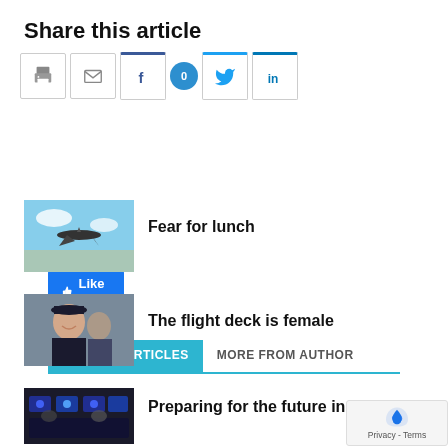Share this article
[Figure (screenshot): Social share buttons: print, email, Facebook (with 0 counter), Twitter, LinkedIn]
[Figure (screenshot): Like 28 button (Facebook like button)]
RELATED ARTICLES | MORE FROM AUTHOR
[Figure (photo): Small aircraft flying in sky thumbnail]
Fear for lunch
[Figure (photo): Female pilot in uniform thumbnail]
The flight deck is female
[Figure (photo): Flight simulator cockpit thumbnail]
Preparing for the future in simula...